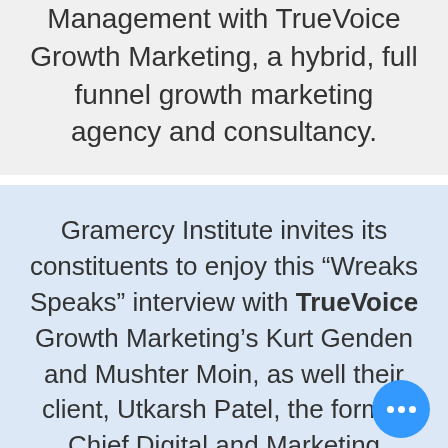Management with TrueVoice Growth Marketing, a hybrid, full funnel growth marketing agency and consultancy.
Gramercy Institute invites its constituents to enjoy this “Wreaks Speaks” interview with TrueVoice Growth Marketing’s Kurt Genden and Mushter Moin, as well their client, Utkarsh Patel, the former Chief Digital and Marketing Officer at